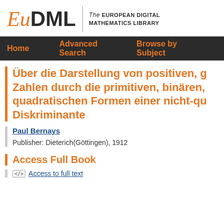[Figure (logo): EuDML logo - European Digital Mathematics Library with italic Eu in orange, DML in dark, and tagline text]
Home   Advanced Search   Browse by Subject
Über die Darstellung von positiven, ganzen Zahlen durch die primitiven, binären, quadratischen Formen einer nicht-quadratischen Diskriminante
Paul Bernays
Publisher: Dieterich(Göttingen), 1912
Access Full Book
Access to full text